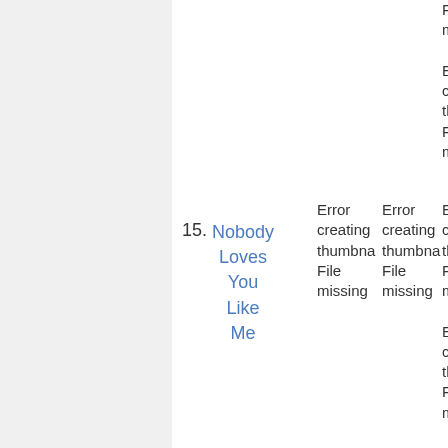15. Nobody Loves You Like Me
Error creating thumbnail File missing Error creating thumbnail File missing Error creating thumbnail File missing Error creating thumbnail File missing Error creating thumbnail File missing Error creating thumbnail File missing